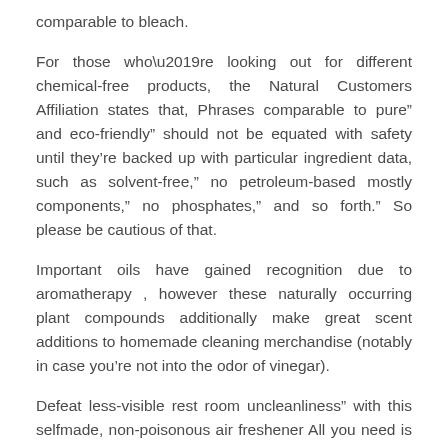comparable to bleach.
For those who’re looking out for different chemical-free products, the Natural Customers Affiliation states that, Phrases comparable to pure” and eco-friendly” should not be equated with safety until they’re backed up with particular ingredient data, such as solvent-free,” no petroleum-based mostly components,” no phosphates,” and so forth.” So please be cautious of that.
Important oils have gained recognition due to aromatherapy , however these naturally occurring plant compounds additionally make great scent additions to homemade cleaning merchandise (notably in case you’re not into the odor of vinegar).
Defeat less-visible rest room uncleanliness” with this selfmade, non-poisonous air freshener All you need is baking soda, your favorite essential oil, and an previous jar with a lid you don’t thoughts poking holes in (comply